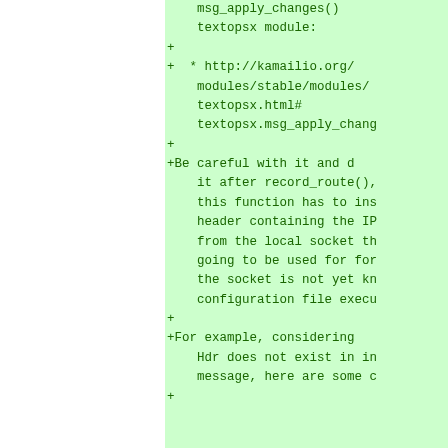msg_apply_changes()
    textopsx module:
+
+  * http://kamailio.org/modules/stable/modules/textopsx.html#textopsx.msg_apply_chang
+
+Be careful with it and d it after record_route(), this function has to ins header containing the IP from the local socket th going to be used for for the socket is not yet kn configuration file execu
+
+For example, considering Hdr does not exist in in message, here are some c
+